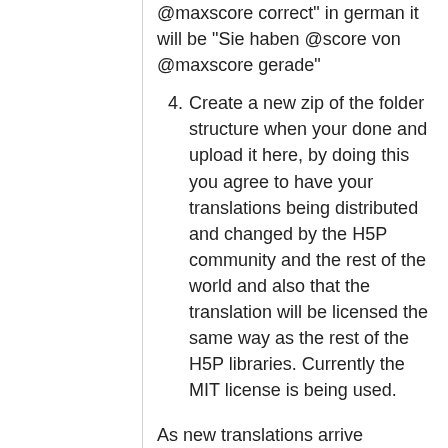@maxscore correct" in german it will be "Sie haben @score von @maxscore gerade"
4. Create a new zip of the folder structure when your done and upload it here, by doing this you agree to have your translations being distributed and changed by the H5P community and the rest of the world and also that the translation will be licensed the same way as the rest of the H5P libraries. Currently the MIT license is being used.
As new translations arrive